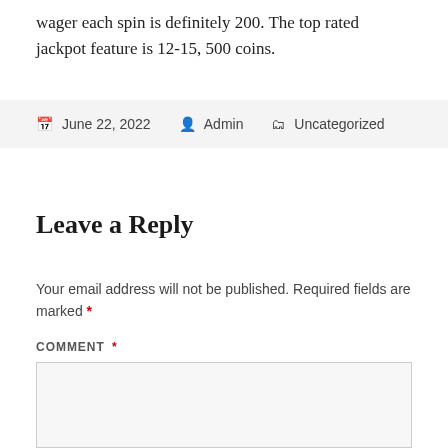wager each spin is definitely 200. The top rated jackpot feature is 12-15, 500 coins.
June 22, 2022  Admin  Uncategorized
Leave a Reply
Your email address will not be published. Required fields are marked *
COMMENT *